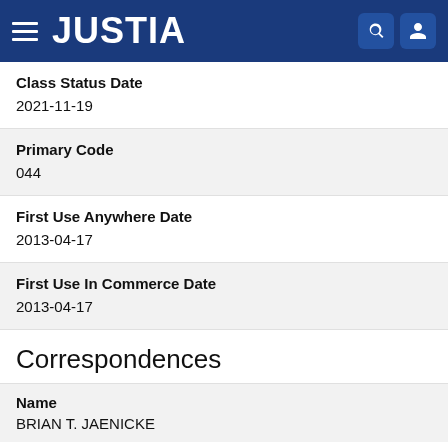JUSTIA
Class Status Date
2021-11-19
Primary Code
044
First Use Anywhere Date
2013-04-17
First Use In Commerce Date
2013-04-17
Correspondences
Name
BRIAN T. JAENICKE